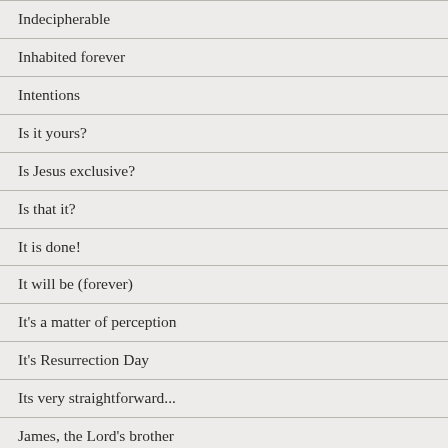Indecipherable
Inhabited forever
Intentions
Is it yours?
Is Jesus exclusive?
Is that it?
It is done!
It will be (forever)
It's a matter of perception
It's Resurrection Day
Its very straightforward...
James, the Lord's brother